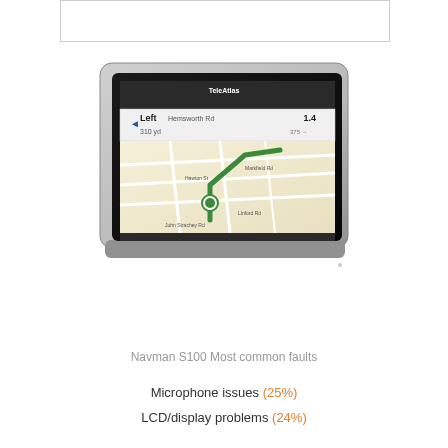[Figure (photo): Empty white rectangle with light grey border at top of page]
[Figure (photo): Navman S100 GPS navigation device shown at an angle, displaying a map with turn-by-turn directions showing 'Left Hemsworth Rd' with 1.4 distance, route shown in green on a beige street map]
Navman S100 Most common faults
Microphone issues (25%)
LCD/display problems (24%)